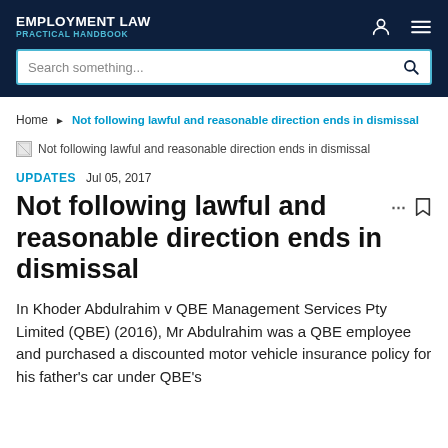EMPLOYMENT LAW PRACTICAL HANDBOOK
Search something...
Home › Not following lawful and reasonable direction ends in dismissal
[Figure (illustration): Broken image placeholder with alt text: Not following lawful and reasonable direction ends in dismissal]
UPDATES   Jul 05, 2017
Not following lawful and reasonable direction ends in dismissal
In Khoder Abdulrahim v QBE Management Services Pty Limited (QBE) (2016), Mr Abdulrahim was a QBE employee and purchased a discounted motor vehicle insurance policy for his father's car under QBE's